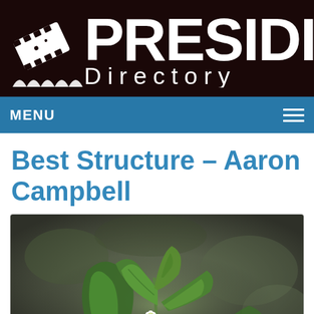[Figure (logo): Presidio Directory logo with film strip icon on dark brown background. White text reading PRESIDIO in large bold letters and Directory in spaced lighter text below.]
MENU
Best Structure – Aaron Campbell
[Figure (photo): Close-up photograph of a small white flower with green serrated leaves, shot with shallow depth of field against a blurred dark green/grey background.]